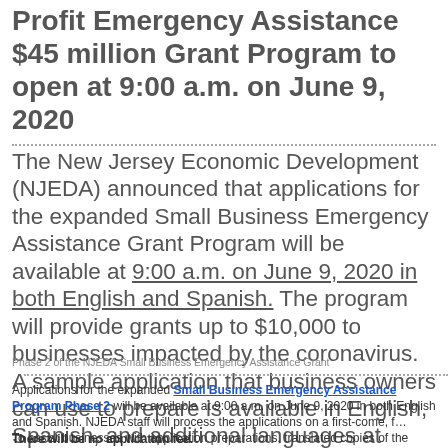Profit Emergency Assistance $45 million Grant Program to open at 9:00 a.m. on June 9, 2020
The New Jersey Economic Development (NJEDA) announced that applications for the expanded Small Business Emergency Assistance Grant Program will be available at 9:00 a.m. on June 9, 2020 in both English and Spanish. The program will provide grants up to $10,000 to businesses impacted by the coronavirus. A sample application that business owners can use to prepare is available in English, Spanish, and additional languages at https://cv.business
Phase 2 of the NJEDA Small Business Emergency Assistance Grant
Applications for the expanded Small Business Emergency Assistance Program Phase 2 will be available at 9:00 a.m. on June 9, 2020 in both English and Spanish. NJEDA staff will process the applications on a first-come, first-served basis. There will be no application fee.
To assist businesses with application preparations, translated copies of the application will be available at the following languages: English, Spanish, and additional M